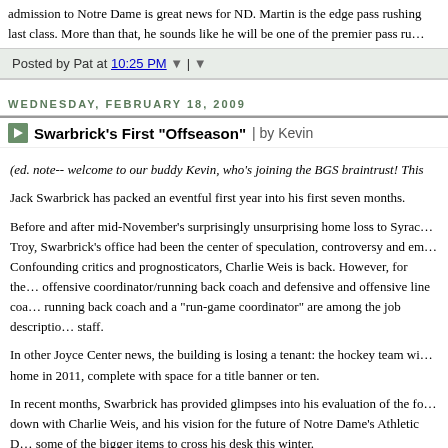admission to Notre Dame is great news for ND. Martin is the edge pass rushing last class. More than that, he sounds like he will be one of the premier pass ru...
Posted by Pat at 10:25 PM |
WEDNESDAY, FEBRUARY 18, 2009
Swarbrick's First "Offseason" | by Kevin
(ed. note-- welcome to our buddy Kevin, who's joining the BGS braintrust! This
Jack Swarbrick has packed an eventful first year into his first seven months.
Before and after mid-November's surprisingly unsurprising home loss to Syrac... Troy, Swarbrick's office had been the center of speculation, controversy and em... Confounding critics and prognosticators, Charlie Weis is back. However, for the... offensive coordinator/running back coach and defensive and offensive line coa... running back coach and a "run-game coordinator" are among the job descriptio... staff.
In other Joyce Center news, the building is losing a tenant: the hockey team wi... home in 2011, complete with space for a title banner or ten.
In recent months, Swarbrick has provided glimpses into his evaluation of the fo... down with Charlie Weis, and his vision for the future of Notre Dame's Athletic D... some of the bigger items to cross his desk this winter.